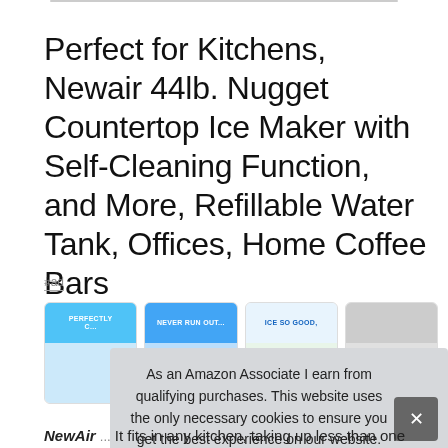Perfect for Kitchens, Newair 44lb. Nugget Countertop Ice Maker with Self-Cleaning Function, and More, Refillable Water Tank, Offices, Home Coffee Bars
#ad
[Figure (screenshot): Row of four product thumbnail images showing the ice maker from different angles and with different promotional text overlays: PERFECTLY CHILLED, NEVER RUN OUT, ICE SO GOOD, and a product photo.]
As an Amazon Associate I earn from qualifying purchases. This website uses the only necessary cookies to ensure you get the best experience on our website. More information
NewAir ... It fits in any kitchen, taking up less than one